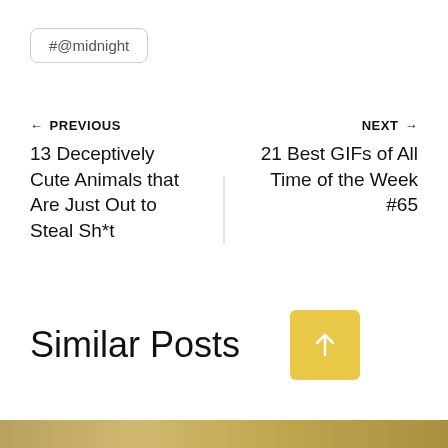#@midnight
← PREVIOUS
NEXT →
13 Deceptively Cute Animals that Are Just Out to Steal Sh*t
21 Best GIFs of All Time of the Week #65
Similar Posts
[Figure (other): Yellow square button with white upward arrow icon (scroll to top button)]
[Figure (photo): Partial bottom strip showing image thumbnails, cropped at bottom of page]